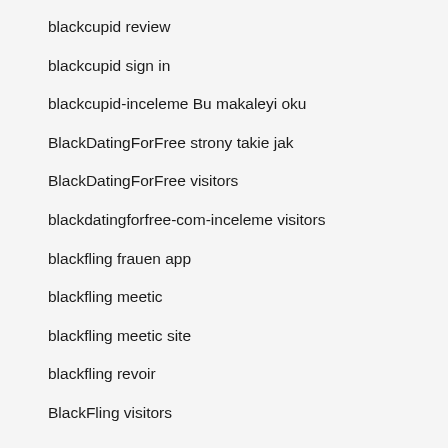blackcupid review
blackcupid sign in
blackcupid-inceleme Bu makaleyi oku
BlackDatingForFree strony takie jak
BlackDatingForFree visitors
blackdatingforfree-com-inceleme visitors
blackfling frauen app
blackfling meetic
blackfling meetic site
blackfling revoir
BlackFling visitors